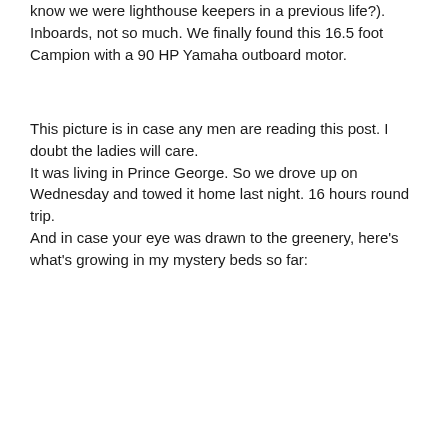know we were lighthouse keepers in a previous life?). Inboards, not so much. We finally found this 16.5 foot Campion with a 90 HP Yamaha outboard motor.
This picture is in case any men are reading this post. I doubt the ladies will care.
It was living in Prince George. So we drove up on Wednesday and towed it home last night. 16 hours round trip.
And in case your eye was drawn to the greenery, here's what's growing in my mystery beds so far: